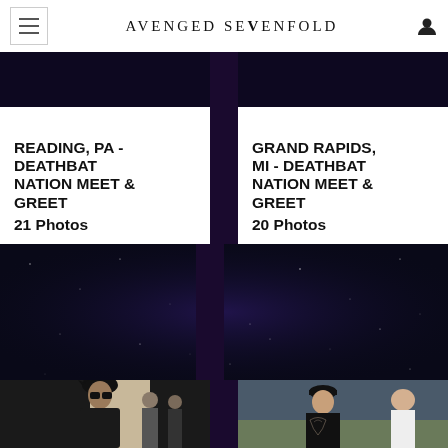Avenged Sevenfold
READING, PA - DEATHBAT NATION MEET & GREET
21 Photos
GRAND RAPIDS, MI - DEATHBAT NATION MEET & GREET
20 Photos
MEMBERS ONLY
MEMBERS ONLY
[Figure (photo): Photo of person with spiked hair in leather jacket at a meet and greet, others in background]
[Figure (photo): Photo of person with tattoos on their back wearing a black sleeveless shirt and cap at an indoor venue]